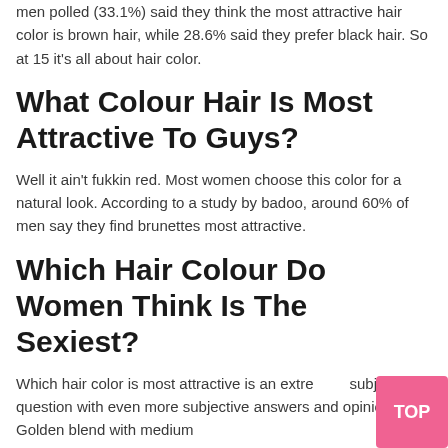men polled (33.1%) said they think the most attractive hair color is brown hair, while 28.6% said they prefer black hair. So at 15 it's all about hair color.
What Colour Hair Is Most Attractive To Guys?
Well it ain't fukkin red. Most women choose this color for a natural look. According to a study by badoo, around 60% of men say they find brunettes most attractive.
Which Hair Colour Do Women Think Is The Sexiest?
Which hair color is most attractive is an extremely subjective question with even more subjective answers and opinions. Golden blend with medium